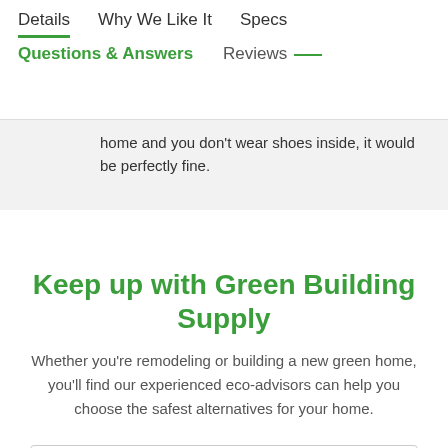Details | Why We Like It | Specs | Questions & Answers | Reviews
home and you don't wear shoes inside, it would be perfectly fine.
Keep up with Green Building Supply
Whether you're remodeling or building a new green home, you'll find our experienced eco-advisors can help you choose the safest alternatives for your home.
Email
SIGN UP